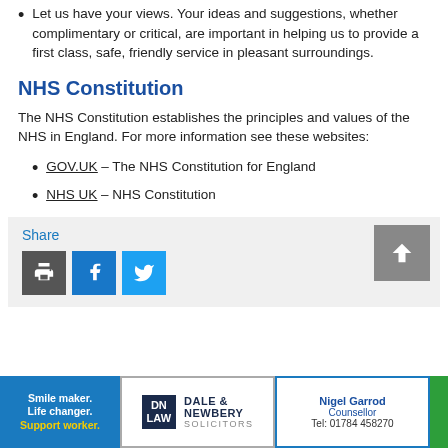Let us have your views. Your ideas and suggestions, whether complimentary or critical, are important in helping us to provide a first class, safe, friendly service in pleasant surroundings.
NHS Constitution
The NHS Constitution establishes the principles and values of the NHS in England. For more information see these websites:
GOV.UK – The NHS Constitution for England
NHS UK – NHS Constitution
[Figure (other): Share box with print, Facebook, and Twitter buttons, and a scroll-to-top button]
[Figure (other): Advertisement banners: Smile maker Life changer Support worker; Dale & Newbery Law Solicitors; Nigel Garrod Counsellor Tel: 01784 458270; partial green advert]